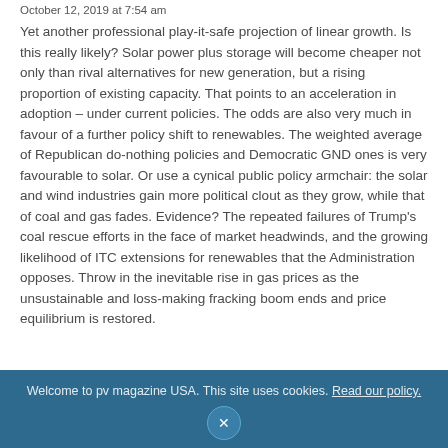October 12, 2019 at 7:54 am
Yet another professional play-it-safe projection of linear growth. Is this really likely? Solar power plus storage will become cheaper not only than rival alternatives for new generation, but a rising proportion of existing capacity. That points to an acceleration in adoption – under current policies. The odds are also very much in favour of a further policy shift to renewables. The weighted average of Republican do-nothing policies and Democratic GND ones is very favourable to solar. Or use a cynical public policy armchair: the solar and wind industries gain more political clout as they grow, while that of coal and gas fades. Evidence? The repeated failures of Trump's coal rescue efforts in the face of market headwinds, and the growing likelihood of ITC extensions for renewables that the Administration opposes. Throw in the inevitable rise in gas prices as the unsustainable and loss-making fracking boom ends and price equilibrium is restored.
Welcome to pv magazine USA. This site uses cookies. Read our policy.